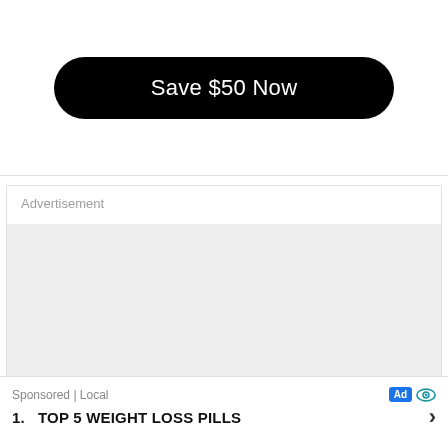[Figure (other): Black pill-shaped button with white text reading 'Save $50 Now']
Advertisement
[Figure (other): Gray empty advertisement placeholder box]
Sponsored | Local
1. TOP 5 WEIGHT LOSS PILLS